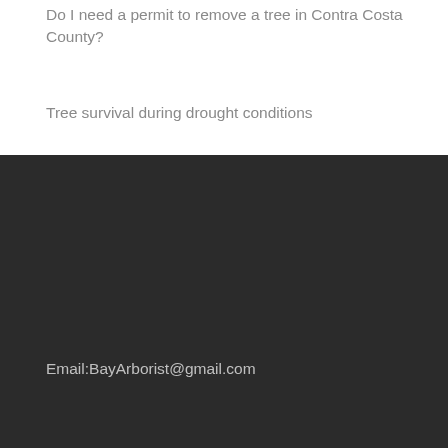Do I need a permit to remove a tree in Contra Costa County?
Tree survival during drought conditions
Email:BayArborist@gmail.com